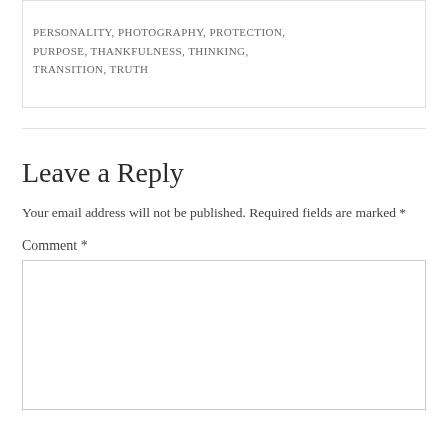PERSONALITY, PHOTOGRAPHY, PROTECTION, PURPOSE, THANKFULNESS, THINKING, TRANSITION, TRUTH
Leave a Reply
Your email address will not be published. Required fields are marked *
Comment *